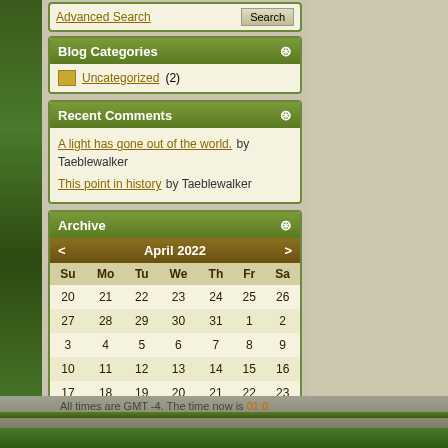Advanced Search | Search
Blog Categories
Uncategorized (2)
Recent Comments
A light has gone out of the world. by Taeblewalker
This point in history by Taeblewalker
Archive
| Su | Mo | Tu | We | Th | Fr | Sa |
| --- | --- | --- | --- | --- | --- | --- |
| 20 | 21 | 22 | 23 | 24 | 25 | 26 |
| 27 | 28 | 29 | 30 | 31 | 1 | 2 |
| 3 | 4 | 5 | 6 | 7 | 8 | 9 |
| 10 | 11 | 12 | 13 | 14 | 15 | 16 |
| 17 | 18 | 19 | 20 | 21 | 22 | 23 |
| 24 | 25 | 26 | 27 | 28 | 29 | 30 |
All times are GMT -4. The time now is 01:0...